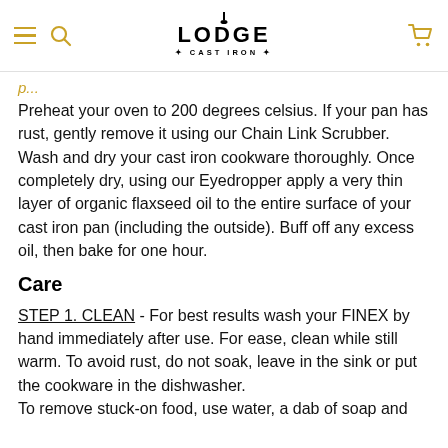Lodge Cast Iron
Preheat your oven to 200 degrees celsius. If your pan has rust, gently remove it using our Chain Link Scrubber. Wash and dry your cast iron cookware thoroughly. Once completely dry, using our Eyedropper apply a very thin layer of organic flaxseed oil to the entire surface of your cast iron pan (including the outside). Buff off any excess oil, then bake for one hour.
Care
STEP 1. CLEAN - For best results wash your FINEX by hand immediately after use. For ease, clean while still warm. To avoid rust, do not soak, leave in the sink or put the cookware in the dishwasher. To remove stuck-on food, use water, a dab of soap and